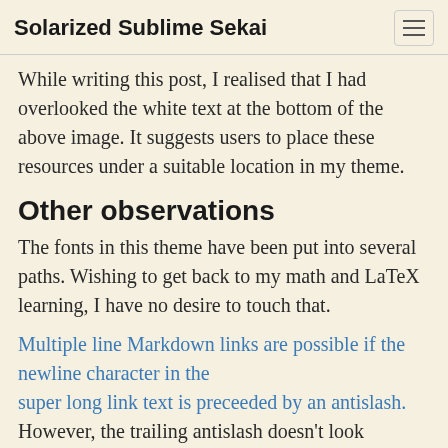Solarized Sublime Sekai
While writing this post, I realised that I had overlooked the white text at the bottom of the above image. It suggests users to place these resources under a suitable location in my theme.
Other observations
The fonts in this theme have been put into several paths. Wishing to get back to my math and LaTeX learning, I have no desire to touch that.
Multiple line Markdown links are possible if the newline character in the super long link text is preceeded by an antislash. However, the trailing antislash doesn't look